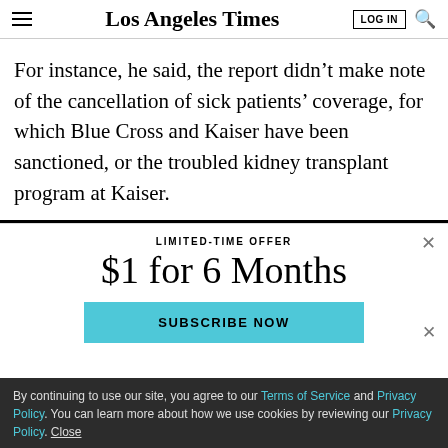Los Angeles Times
For instance, he said, the report didn’t make note of the cancellation of sick patients’ coverage, for which Blue Cross and Kaiser have been sanctioned, or the troubled kidney transplant program at Kaiser.
LIMITED-TIME OFFER
$1 for 6 Months
SUBSCRIBE NOW
By continuing to use our site, you agree to our Terms of Service and Privacy Policy. You can learn more about how we use cookies by reviewing our Privacy Policy. Close